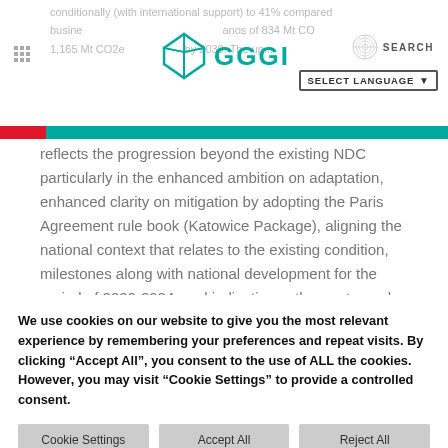conditionally (with international support) to 41% compared business as usual scenarios of 834 Mt CO2e and 1,165 Mt CO2e respectively by 2030. The up...
[Figure (logo): GGGI logo with teal cube icon and teal text GGGI]
reflects the progression beyond the existing NDC particularly in the enhanced ambition on adaptation, enhanced clarity on mitigation by adopting the Paris Agreement rule book (Katowice Package), aligning the national context that relates to the existing condition, milestones along with national development for the period of 2020-2024, and indicative pathways towards long-term vision Vision Indonesia 2045 and the Long-Term Strategy on...
We use cookies on our website to give you the most relevant experience by remembering your preferences and repeat visits. By clicking “Accept All”, you consent to the use of ALL the cookies. However, you may visit "Cookie Settings" to provide a controlled consent.